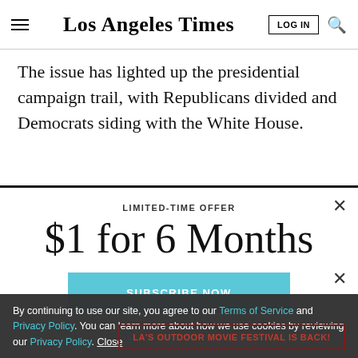Los Angeles Times
The issue has lighted up the presidential campaign trail, with Republicans divided and Democrats siding with the White House.
LIMITED-TIME OFFER
$1 for 6 Months
SUBSCRIBE NOW
By continuing to use our site, you agree to our Terms of Service and Privacy Policy. You can learn more about how we use cookies by reviewing our Privacy Policy. Close
LA'S OUTDOOR MOVIE FESTIVAL IS BACK!